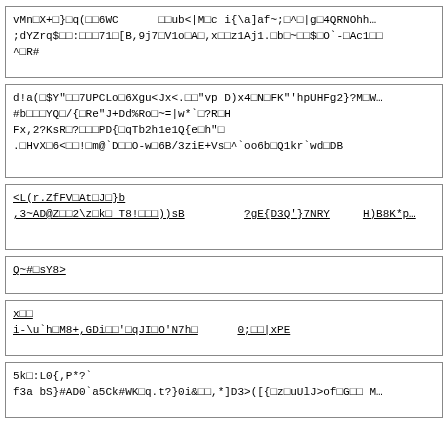vMn□X+□}□q(□□6WC      □□ub<|M□c i{\a]af~;□^□|g□4QRNOhh… ;dYZrq$□□:□□□71□[B,9j7□V1o□A□,x□□z1Aj1.□b□~□□$□O`-□Ac1□□ ^□R#
d!a(□$Y"□□7UPCLo□6Xgu<Jx<.□□"vp D)x4□N□FK"'hpUHFg2}?M□W… #b□□□YQ□/{□Re"J+Dd%Ro□~=|w*`□?R□H Fx,2?KsR□?□□□PD{□qTb2h1e1Q{e□h"□ .□HvX□6<□□!□m@`D□□O-w□6B/3ziE+Vs□^`oo6b□Q1kr`wd□DB
<L(r.ZfFV□At□J□}b ,3~AD@Z□□2\z□k□ T8!□□□))sB        ?gE{D3Q'}7NRY     H)B8K*p…
Q~#□sY8>
x□□ i-\u`h□M8+,GDi□□'□qJI□O'N7h□     0;□□|xPE
5k□:L0{,P*?` f3a bS}#AD0`a5Ck#WK□q.t?}0i&□□,*]D3>([{□z□uUlJ>of□G□□ M…